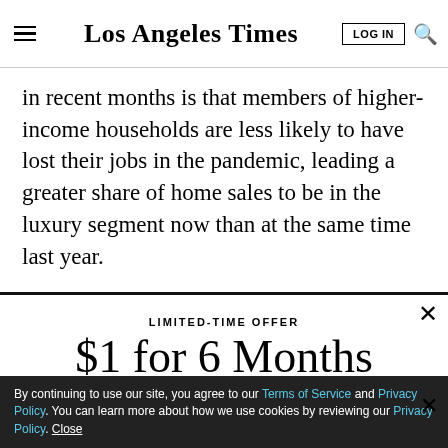Los Angeles Times
in recent months is that members of higher-income households are less likely to have lost their jobs in the pandemic, leading a greater share of home sales to be in the luxury segment now than at the same time last year.
LIMITED-TIME OFFER
$1 for 6 Months
SUBSCRIBE NOW
By continuing to use our site, you agree to our Terms of Service and Privacy Policy. You can learn more about how we use cookies by reviewing our Privacy Policy. Close